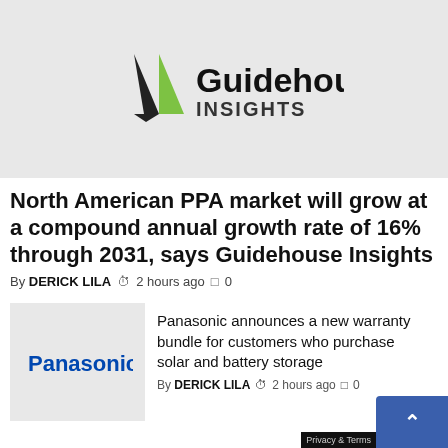[Figure (logo): Guidehouse Insights logo with black and green arrow/triangle mark and bold black text 'Guidehouse' with 'INSIGHTS' below]
North American PPA market will grow at a compound annual growth rate of 16% through 2031, says Guidehouse Insights
By DERICK LILA  2 hours ago  0
[Figure (logo): Panasonic logo in blue text on light gray background]
Panasonic announces a new warranty bundle for customers who purchase solar and battery storage
By DERICK LILA  2 hours ago  0